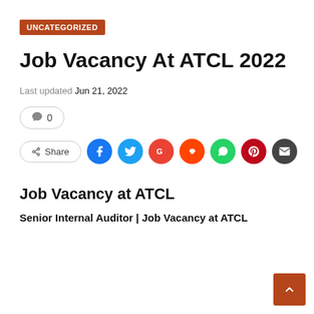UNCATEGORIZED
Job Vacancy At ATCL 2022
Last updated Jun 21, 2022
💬 0
[Figure (other): Share button row with social media icons: Facebook, Twitter, Google, Reddit, WhatsApp, Pinterest, Email]
Job Vacancy at ATCL
Senior Internal Auditor | Job Vacancy at ATCL